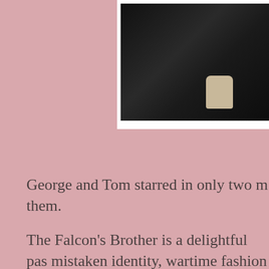[Figure (photo): A cropped black and white photograph showing a dark scene with a partial view of a hand or figure in the lower right area.]
George and Tom starred in only two movies together, both of them.
The Falcon's Brother is a delightful pastiche of mistaken identity, wartime fashion and features George and Tom as two horn dogs who keep harassing her. This was once seen as a lot of the action takes place around f all that they are definitely NOT GAY...